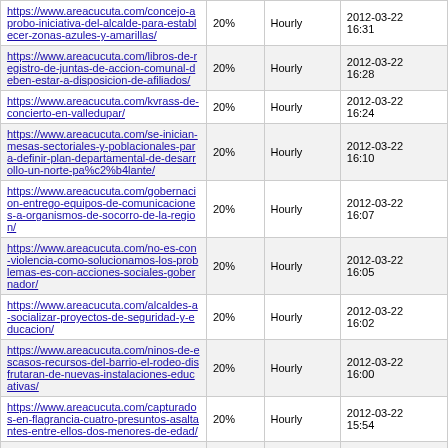| URL | Priority | Change Frequency | Last Modified |
| --- | --- | --- | --- |
| https://www.areacucuta.com/concejo-aprobo-iniciativa-del-alcalde-para-establecer-zonas-azules-y-amarillas/ | 20% | Hourly | 2012-03-22 16:31 |
| https://www.areacucuta.com/libros-de-registro-de-juntas-de-accion-comunal-deben-estar-a-disposicion-de-afiliados/ | 20% | Hourly | 2012-03-22 16:28 |
| https://www.areacucuta.com/kvrass-de-concierto-en-valledupar/ | 20% | Hourly | 2012-03-22 16:24 |
| https://www.areacucuta.com/se-inician-mesas-sectoriales-y-poblacionales-para-definir-plan-departamental-de-desarrollo-un-norte-pa%c2%b4lante/ | 20% | Hourly | 2012-03-22 16:10 |
| https://www.areacucuta.com/gobernacion-entrego-equipos-de-comunicaciones-a-organismos-de-socorro-de-la-region/ | 20% | Hourly | 2012-03-22 16:07 |
| https://www.areacucuta.com/no-es-con-violencia-como-solucionamos-los-problemas-es-con-acciones-sociales-gobernador/ | 20% | Hourly | 2012-03-22 16:05 |
| https://www.areacucuta.com/alcaldes-a-socializar-proyectos-de-seguridad-y-educacion/ | 20% | Hourly | 2012-03-22 16:02 |
| https://www.areacucuta.com/ninos-de-escasos-recursos-del-barrio-el-rodeo-disfrutaran-de-nuevas-instalaciones-educativas/ | 20% | Hourly | 2012-03-22 16:00 |
| https://www.areacucuta.com/capturados-en-flagrancia-cuatro-presuntos-asaltantes-entre-ellos-dos-menores-de-edad/ | 20% | Hourly | 2012-03-22 15:54 |
| https://www.areacucuta.com/natalia-henao-un-angel-de-carne-y-hueso/ | 20% | Hourly | 2012-03-21 21:36 |
| https://www.areacucuta.com/corridor-2010-estreno-el-viernes-30-de-marzo-a-las-0800-pm-colombia/ | 20% | Hourly | 2012-03-21 21:25 |
| https://www.areacucuta.com/la-explosividad-y-la-adrenalina-son-llevadas-al-maximo-de-una-... | 20% | Hourly | 2012-03-21 ... |